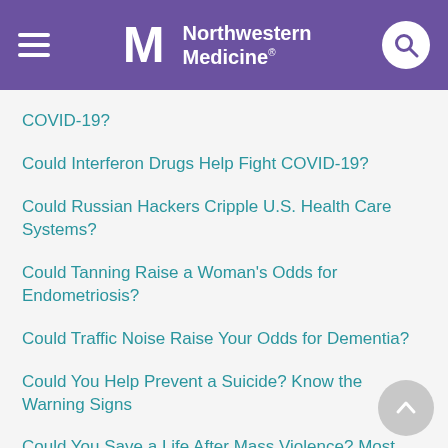Northwestern Medicine
COVID-19?
Could Interferon Drugs Help Fight COVID-19?
Could Russian Hackers Cripple U.S. Health Care Systems?
Could Tanning Raise a Woman's Odds for Endometriosis?
Could Traffic Noise Raise Your Odds for Dementia?
Could You Help Prevent a Suicide? Know the Warning Signs
Could You Save a Life After Mass Violence? Most Americans Say No
Could You Spot and Save a Person Drowning?